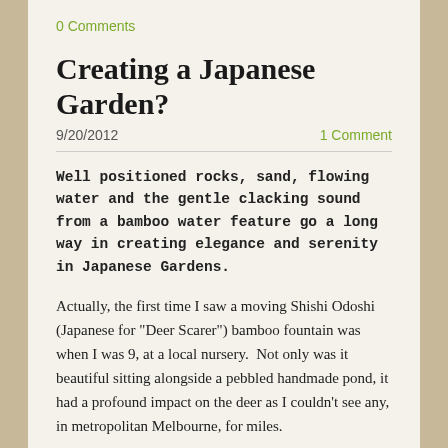0 Comments
Creating a Japanese Garden?
9/20/2012	1 Comment
Well positioned rocks, sand, flowing water and the gentle clacking sound from a bamboo water feature go a long way in creating elegance and serenity in Japanese Gardens.
Actually, the first time I saw a moving Shishi Odoshi (Japanese for "Deer Scarer") bamboo fountain was when I was 9, at a local nursery.  Not only was it beautiful sitting alongside a pebbled handmade pond, it had a profound impact on the deer as I couldn't see any, in metropolitan Melbourne, for miles.
It was towards the end of last year, when I was down the back admiring some of dad's bamboo, I remembered again that display fountain and thought it would make a